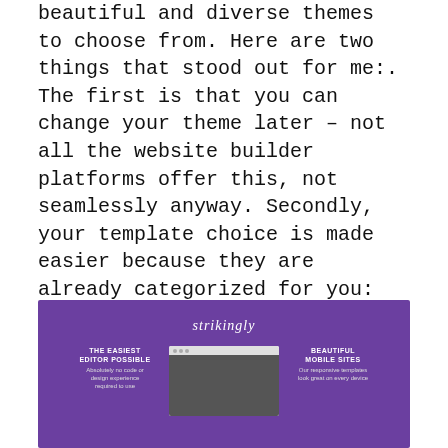beautiful and diverse themes to choose from. Here are two things that stood out for me:. The first is that you can change your theme later – not all the website builder platforms offer this, not seamlessly anyway. Secondly, your template choice is made easier because they are already categorized for you: All, Store, Business, StartUp, Creative, Personal and Blog. In other words, you have designs offered in different categories, talk about keeping it as simple as possible
[Figure (screenshot): Screenshot of the Strikingly website builder homepage with purple background, showing the Strikingly logo, 'THE EASIEST EDITOR POSSIBLE' column on the left, a browser mockup in the center, and 'BEAUTIFUL MOBILE SITES' column on the right.]